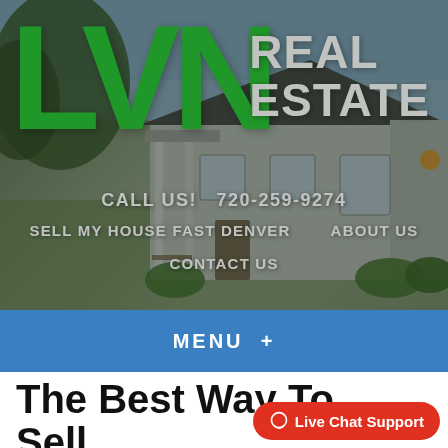[Figure (screenshot): LVN Real Estate website header with hero house background image, green LVN logo, white REAL ESTATE text, navigation links including CALL US! 720-259-9274, SELL MY HOUSE FAST DENVER, ABOUT US, CONTACT US, and a blue MENU + bar]
The Best Way To Sell Land In Denver
Live Chat Support